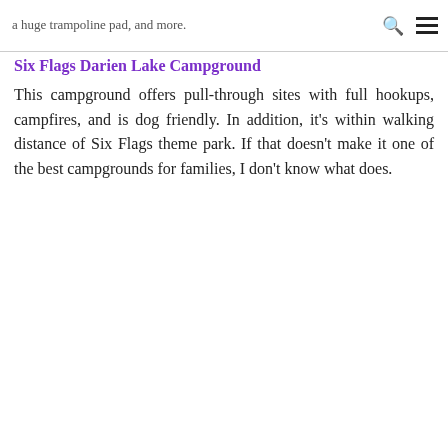a huge trampoline pad, and more.
Six Flags Darien Lake Campground
This campground offers pull-through sites with full hookups, campfires, and is dog friendly. In addition, it’s within walking distance of Six Flags theme park. If that doesn’t make it one of the best campgrounds for families, I don’t know what does.